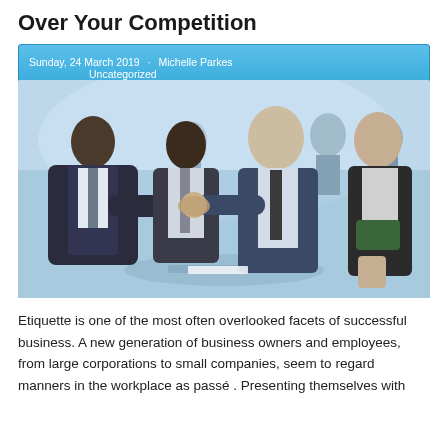Over Your Competition
Sunday, 24 March 2019  ·  Michelle Parkes
Uncategorized
[Figure (photo): Four business professionals in suits shaking hands across a glass table in a modern office lobby. Two men are shaking hands prominently in the center, another man looks on smiling, and a woman with a folder sits on the right. Background is bright and blurred.]
Etiquette is one of the most often overlooked facets of successful business. A new generation of business owners and employees, from large corporations to small companies, seem to regard manners in the workplace as passé . Presenting themselves with